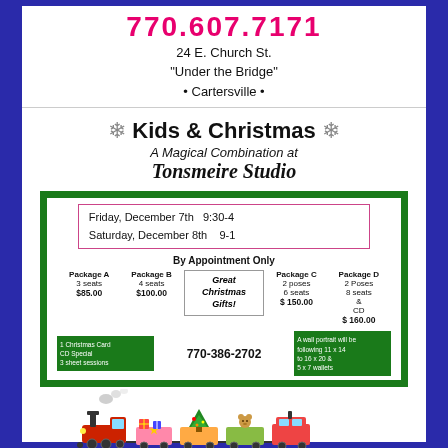770.607.7171
24 E. Church St.
"Under the Bridge"
• Cartersville •
Kids & Christmas
A Magical Combination at
Tonsmeire Studio
Friday, December 7th   9:30-4
Saturday, December 8th   9-1
By Appointment Only
Package A 3 seats $85.00 | Package B 4 seats $100.00 | Great Christmas Gifts! | Package C 2 poses 6 seats $150.00 | Package D 2 Poses 8 seats & CD $160.00
770-386-2702
[Figure (illustration): Cartoon Christmas train with locomotive and holiday-themed cars carrying gifts and toys]